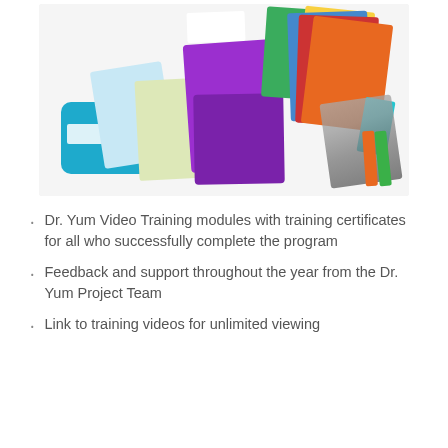[Figure (photo): A collection of Dr. Yum educational products including books (Broc and Cara's Gut Book, Broc and Cara's Picnic Party, Raising a Healthy Happy Eater), purple booklets/curriculum materials, colorful flashcards, a teal silicone divided plate, and kitchen utensils/knives spread out on a white surface.]
Dr. Yum Video Training modules with training certificates for all who successfully complete the program
Feedback and support throughout the year from the Dr. Yum Project Team
Link to training videos for unlimited viewing